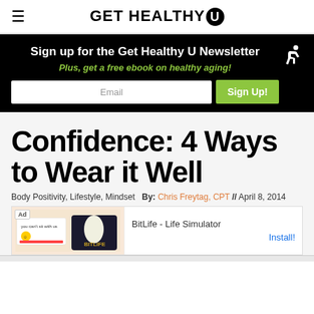GET HEALTHY U
Sign up for the Get Healthy U Newsletter
Plus, get a free ebook on healthy aging!
Confidence: 4 Ways to Wear it Well
Body Positivity, Lifestyle, Mindset   By: Chris Freytag, CPT // April 8, 2014
[Figure (screenshot): Advertisement banner for BitLife - Life Simulator app with 'Ad' label and 'Install!' button]